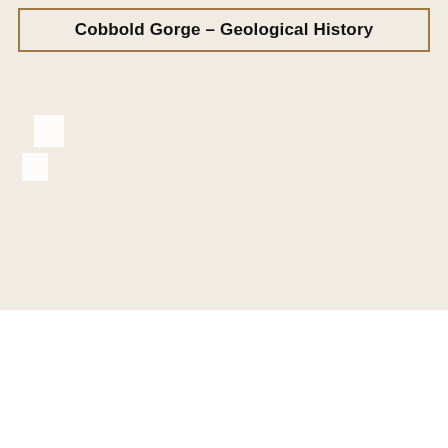Cobbold Gorge – Geological History
[Figure (illustration): Partial image/photograph fragment visible at upper left of the beige content area, showing two overlapping white rectangular shapes, likely the corner of a photograph or document image.]